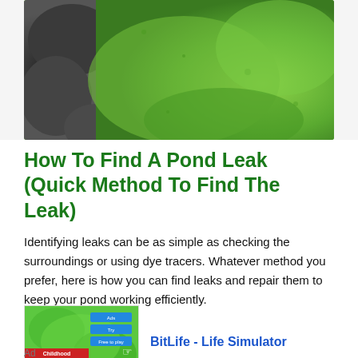[Figure (photo): Outdoor photo showing green grass and dark rocks/stone wall, likely a pond or garden area]
How To Find A Pond Leak (Quick Method To Find The Leak)
Identifying leaks can be as simple as checking the surroundings or using dye tracers. Whatever method you prefer, here is how you can find leaks and repair them to keep your pond working efficiently.
[Figure (screenshot): BitLife - Life Simulator app advertisement image showing gameplay screenshot with green background, blue buttons, Childhood label, and BitLife logo]
BitLife - Life Simulator
Ad